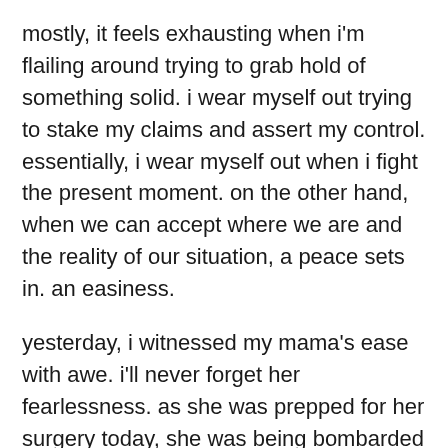mostly, it feels exhausting when i'm flailing around trying to grab hold of something solid. i wear myself out trying to stake my claims and assert my control. essentially, i wear myself out when i fight the present moment. on the other hand, when we can accept where we are and the reality of our situation, a peace sets in. an easiness.
yesterday, i witnessed my mama's ease with awe. i'll never forget her fearlessness. as she was prepped for her surgery today, she was being bombarded with all the people and all the interventions, all day. she was starting to grow weary of it all. she wasn't alone. just as she started to order her food, two other staff entered